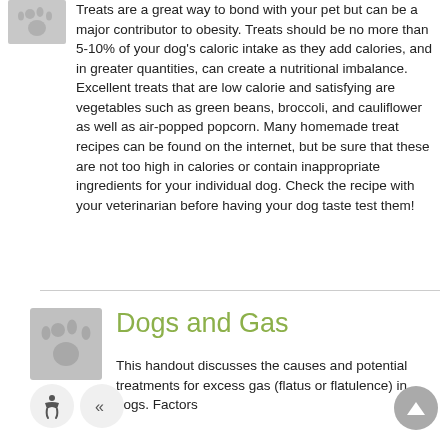[Figure (illustration): Gray square icon with paw print symbol, top left]
Treats are a great way to bond with your pet but can be a major contributor to obesity. Treats should be no more than 5-10% of your dog's caloric intake as they add calories, and in greater quantities, can create a nutritional imbalance. Excellent treats that are low calorie and satisfying are vegetables such as green beans, broccoli, and cauliflower as well as air-popped popcorn. Many homemade treat recipes can be found on the internet, but be sure that these are not too high in calories or contain inappropriate ingredients for your individual dog. Check the recipe with your veterinarian before having your dog taste test them!
[Figure (illustration): Gray square icon with paw print symbol, beside Dogs and Gas section heading]
Dogs and Gas
This handout discusses the causes and potential treatments for excess gas (flatus or flatulence) in dogs. Factors